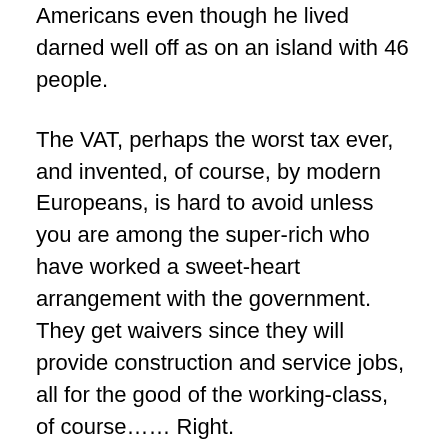Americans even though he lived darned well off as on an island with 46 people.
The VAT, perhaps the worst tax ever, and invented, of course, by modern Europeans, is hard to avoid unless you are among the super-rich who have worked a sweet-heart arrangement with the government. They get waivers since they will provide construction and service jobs, all for the good of the working-class, of course…… Right.
Most stores and restaurants have signs posted or notices on menus indicating that the VAT will be applied. They want the patrons to know it is not their fault the price just went up 7.5%. And one has to remember that the consumer only sees the final 7.5%. All the intermediate 7.5%s added along the production and distribution chain are already